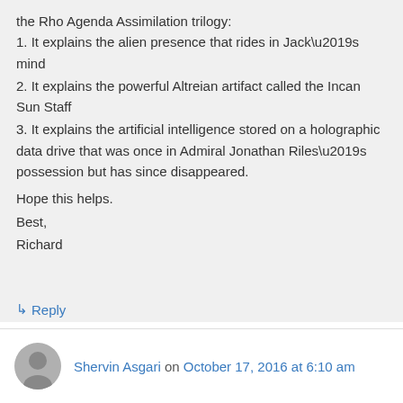the Rho Agenda Assimilation trilogy:
1. It explains the alien presence that rides in Jack’s mind
2. It explains the powerful Altreian artifact called the Incan Sun Staff
3. It explains the artificial intelligence stored on a holographic data drive that was once in Admiral Jonathan Riles’s possession but has since disappeared.
Hope this helps.
Best,
Richard
↳ Reply
Shervin Asgari on October 17, 2016 at 6:10 am